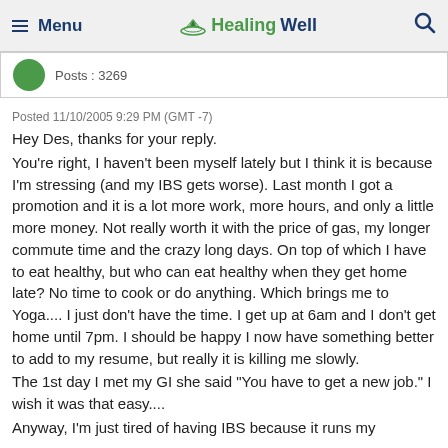≡ Menu  HealingWell  🔍
Posts : 3269
Posted 11/10/2005 9:29 PM (GMT -7)
Hey Des, thanks for your reply.
You're right, I haven't been myself lately but I think it is because I'm stressing (and my IBS gets worse). Last month I got a promotion and it is a lot more work, more hours, and only a little more money. Not really worth it with the price of gas, my longer commute time and the crazy long days. On top of which I have to eat healthy, but who can eat healthy when they get home late? No time to cook or do anything. Which brings me to Yoga.... I just don't have the time. I get up at 6am and I don't get home until 7pm. I should be happy I now have something better to add to my resume, but really it is killing me slowly.
The 1st day I met my GI she said "You have to get a new job." I wish it was that easy....
Anyway, I'm just tired of having IBS because it runs my